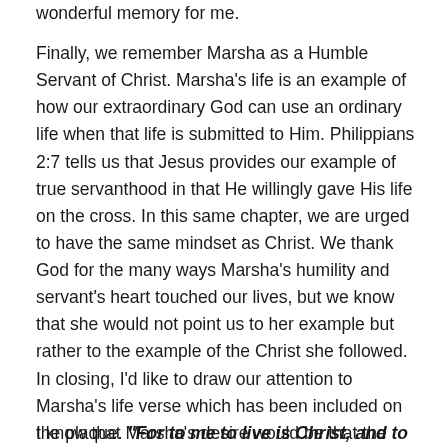wonderful memory for me.
Finally, we remember Marsha as a Humble Servant of Christ. Marsha's life is an example of how our extraordinary God can use an ordinary life when that life is submitted to Him. Philippians 2:7 tells us that Jesus provides our example of true servanthood in that He willingly gave His life on the cross. In this same chapter, we are urged to have the same mindset as Christ. We thank God for the many ways Marsha's humility and servant's heart touched our lives, but we know that she would not point us to her example but rather to the example of the Christ she followed. In closing, I'd like to draw our attention to Marsha's life verse which has been included on the plaque. "For to me to live is Christ, and to die is gain" (Philippians 1:21).
I know that Marsha's desire would be that the memory of